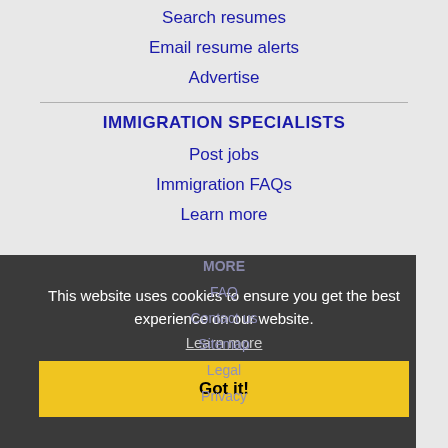Search resumes
Email resume alerts
Advertise
IMMIGRATION SPECIALISTS
Post jobs
Immigration FAQs
Learn more
MORE
FAQ
Contact us
Sitemap
Legal
Privacy
This website uses cookies to ensure you get the best experience on our website.
Learn more
Got it!